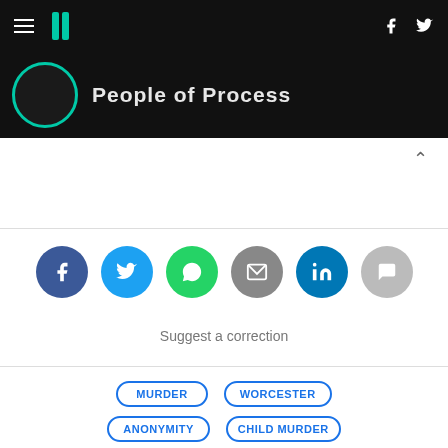HuffPost navigation bar with logo, hamburger menu, Facebook and Twitter icons
[Figure (screenshot): Dark hero banner strip with teal circle and partial white text reading 'People of Process']
[Figure (infographic): Social share buttons row: Facebook (dark blue), Twitter (light blue), WhatsApp (green), Email (grey), LinkedIn (teal), Comment (light grey)]
Suggest a correction
MURDER
WORCESTER
ANONYMITY
CHILD MURDER